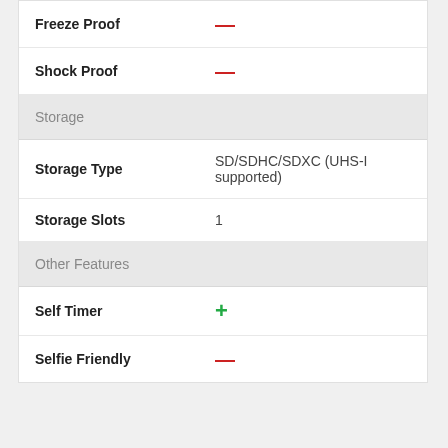| Feature | Value |
| --- | --- |
| Freeze Proof | — |
| Shock Proof | — |
| Storage |  |
| Storage Type | SD/SDHC/SDXC (UHS-I supported) |
| Storage Slots | 1 |
| Other Features |  |
| Self Timer | + |
| Selfie Friendly | — |